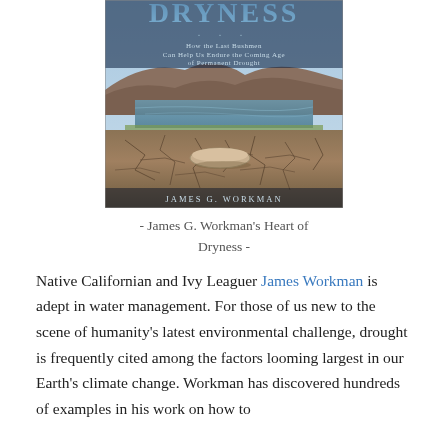[Figure (photo): Book cover of 'Heart of Dryness: How the Last Bushmen Can Help Us Endure the Coming Age of Permanent Drought' by James G. Workman. Shows a cracked dry lakebed with a small boat stranded on it, a low water reservoir and rocky hills in the background.]
- James G. Workman's Heart of Dryness -
Native Californian and Ivy Leaguer James Workman is adept in water management. For those of us new to the scene of humanity's latest environmental challenge, drought is frequently cited among the factors looming largest in our Earth's climate change. Workman has discovered hundreds of examples in his work on how to